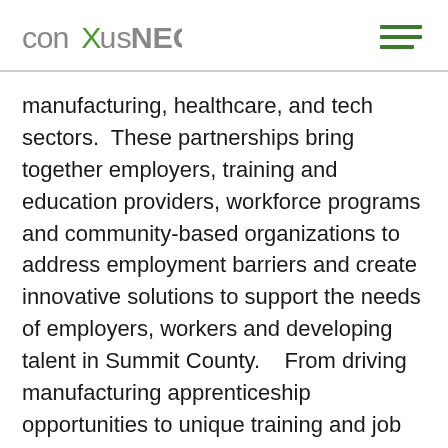conXusNEO
manufacturing, healthcare, and tech sectors.  These partnerships bring together employers, training and education providers, workforce programs and community-based organizations to address employment barriers and create innovative solutions to support the needs of employers, workers and developing talent in Summit County.    From driving manufacturing apprenticeship opportunities to unique training and job quality work in the health care sector, Sue has worked to position ConxusNEO to